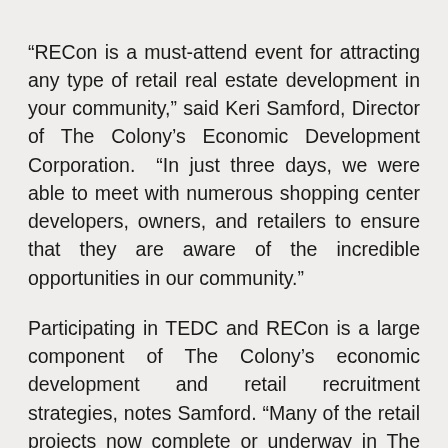“RECon is a must-attend event for attracting any type of retail real estate development in your community,” said Keri Samford, Director of The Colony’s Economic Development Corporation. “In just three days, we were able to meet with numerous shopping center developers, owners, and retailers to ensure that they are aware of the incredible opportunities in our community.”
Participating in TEDC and RECon is a large component of The Colony’s economic development and retail recruitment strategies, notes Samford. “Many of the retail projects now complete or underway in The Colony were sparked through our networking